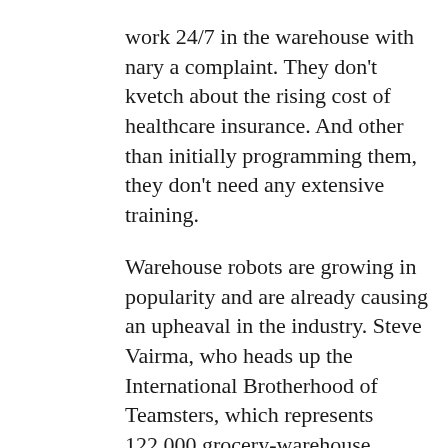work 24/7 in the warehouse with nary a complaint. They don't kvetch about the rising cost of healthcare insurance. And other than initially programming them, they don't need any extensive training.
Warehouse robots are growing in popularity and are already causing an upheaval in the industry. Steve Vairma, who heads up the International Brotherhood of Teamsters, which represents 122,000 grocery-warehouse workers, said “employers are looking to move more and more into automation and we’re going to be faced with those challenges in contract negotiations in coming years.”
An array of companies—from food distributors to retailers—are now utilizing robots as rising labor and land costs cut into profits. Courier firm